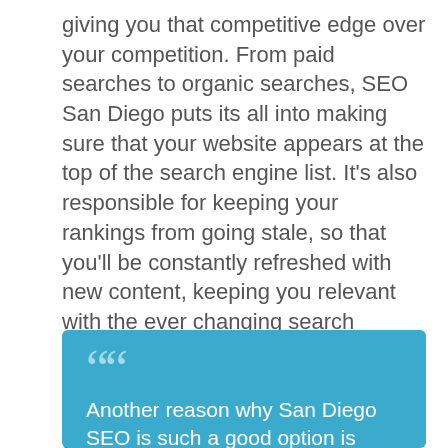giving you that competitive edge over your competition. From paid searches to organic searches, SEO San Diego puts its all into making sure that your website appears at the top of the search engine list. It's also responsible for keeping your rankings from going stale, so that you'll be constantly refreshed with new content, keeping you relevant with the ever changing search engine market. In order to keep their SEO services fresh and cutting-edge, San Diego SEO keeps its technology updated, ensuring that you don't miss any opportunities.
Another reason why San Diego SEO is such a good option is because of the amount of traffic that they can generate for sites. There are many